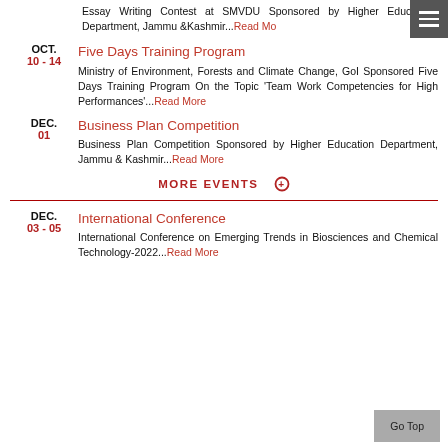Essay Writing Contest at SMVDU Sponsored by Higher Education Department, Jammu &Kashmir...Read More
OCT. 10-14 | Five Days Training Program | Ministry of Environment, Forests and Climate Change, GoI Sponsored Five Days Training Program On the Topic 'Team Work Competencies for High Performances'...Read More
DEC. 01 | Business Plan Competition | Business Plan Competition Sponsored by Higher Education Department, Jammu & Kashmir...Read More
MORE EVENTS
DEC. 03-05 | International Conference | International Conference on Emerging Trends in Biosciences and Chemical Technology-2022...Read More
Go Top